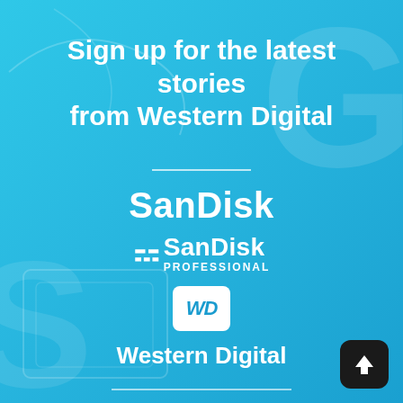Sign up for the latest stories from Western Digital
[Figure (logo): SanDisk logo in white text]
[Figure (logo): SanDisk Professional logo with S icon in white]
[Figure (logo): WD (Western Digital) logo in white box with rounded corners]
Western Digital
[Figure (other): Black rounded square button with white upward arrow]